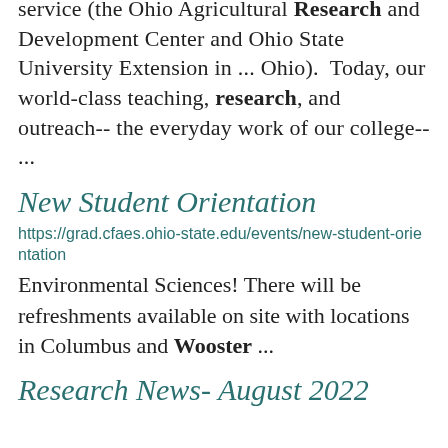service (the Ohio Agricultural Research and Development Center and Ohio State University Extension in ... Ohio).  Today, our world-class teaching, research, and outreach-- the everyday work of our college-- ...
New Student Orientation
https://grad.cfaes.ohio-state.edu/events/new-student-orientation
Environmental Sciences! There will be refreshments available on site with locations in Columbus and Wooster ...
Research News- August 2022